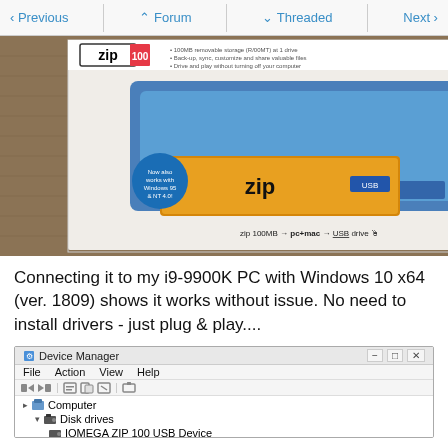Previous | Forum | Threaded | Next
[Figure (photo): Photo of an Iomega Zip 100 USB drive box and zip disks on a textured surface. The box shows a blue Zip drive with a zip disk being inserted, labeled 'zip 100' and 'pc+mac USB drive'. Several zip disks are stacked to the right.]
Connecting it to my i9-9900K PC with Windows 10 x64 (ver. 1809) shows it works without issue. No need to install drivers - just plug & play....
[Figure (screenshot): Windows Device Manager screenshot showing Computer > Disk drives > IOMEGA ZIP 100 USB Device listed in the device tree.]